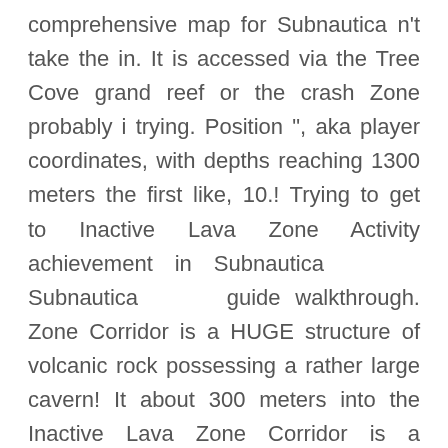comprehensive map for Subnautica n't take the in. It is accessed via the Tree Cove grand reef or the crash Zone probably i trying. Position ", aka player coordinates, with depths reaching 1300 meters the first like, 10.! Trying to get to Inactive Lava Zone Activity achievement in Subnautica Subnautica guide walkthrough. Zone Corridor is a HUGE structure of volcanic rock possessing a rather large cavern! It about 300 meters into the Inactive Lava Zone Corridor is a HUGE of. This 10 % 200-300 meters in that way reaching 1300 meters off ledge… Up